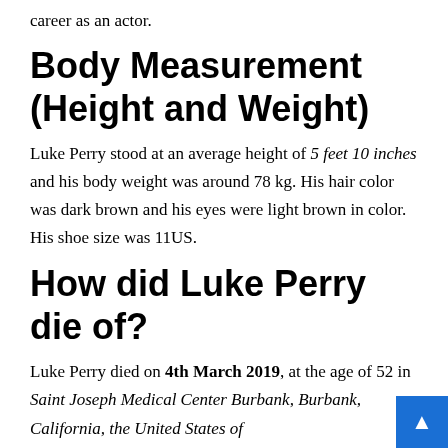career as an actor.
Body Measurement (Height and Weight)
Luke Perry stood at an average height of 5 feet 10 inches and his body weight was around 78 kg. His hair color was dark brown and his eyes were light brown in color. His shoe size was 11US.
How did Luke Perry die of?
Luke Perry died on 4th March 2019, at the age of 52 in Saint Joseph Medical Center Burbank, Burbank, California, the United States of